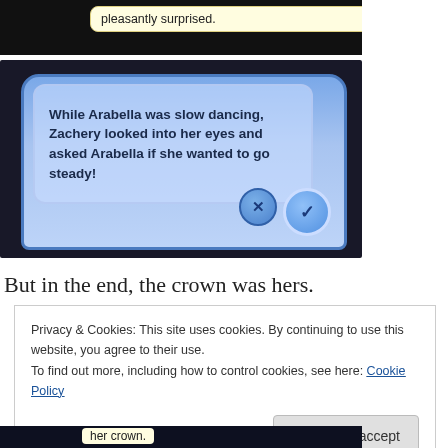[Figure (screenshot): Top portion of a game screenshot showing a yellow speech bubble with text 'pleasantly surprised.']
[Figure (screenshot): Game screenshot showing a blue dialog box with bold text: 'While Arabella was slow dancing, Zachery looked into her eyes and asked Arabella if she wanted to go steady!' with X and checkmark buttons.]
But in the end, the crown was hers.
Privacy & Cookies: This site uses cookies. By continuing to use this website, you agree to their use.
To find out more, including how to control cookies, see here: Cookie Policy
Close and accept
[Figure (screenshot): Bottom strip of a game screenshot showing yellow speech bubble with text 'her crown.']